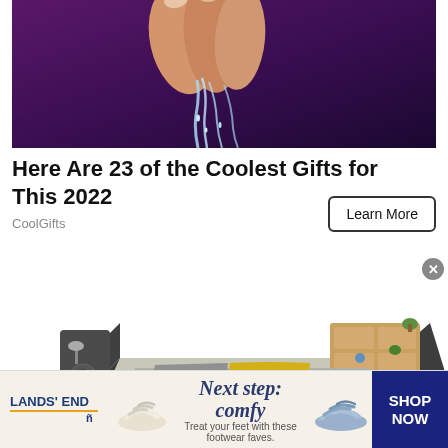[Figure (photo): Close-up photo of fingers touching water stream against dark purple background]
Here Are 23 of the Coolest Gifts for This 2022
CoolGifts
[Figure (photo): Product photo of a high-tech multifunctional bed with built-in speakers, shelves, and yellow accent pillow on gray bedding]
[Figure (photo): Lands' End advertisement banner: Next step: comfy - Treat your feet with these footwear faves. Shows sandals and SHOP NOW button.]